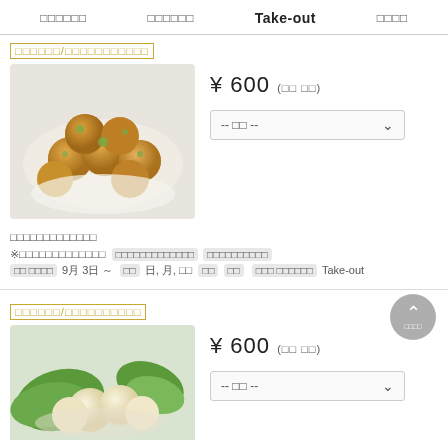□□□□□□  □□□□□□  Take-out  □□□□
□□□□□□/□□□□□□□□□□□
[Figure (photo): Fried food balls (tempura-style) on a white plate]
¥600 (□□ □□)
-- □□ --
□□□□□□□□□□□□□
※□□□□□□□□□□□□□  □□□□□□□□□□□□□ □□□□□□□□□□
□□ □□□□  9月 3日 ～  □□ 日, 月, □□  □□ □□  □□□ □□□□□□ Take-out
□□□□□□/□□□□□□□□□□
[Figure (photo): Tofu or similar food with green leaves on a plate]
¥600 (□□ □□)
-- □□ --